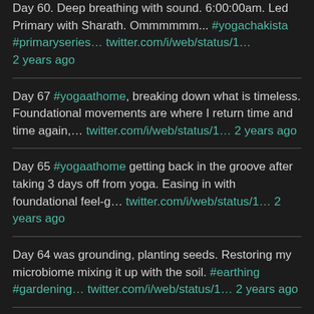Day 60. Deep breathing with sound. 6:00:00am. Led Primary with Sharath. Ommmmmm... #yogachakista #primaryseries... twitter.com/i/web/status/1... 2 years ago
Day 67 #yogaathome, breaking down what is timeless. Foundational movements are where I return time and time again,... twitter.com/i/web/status/1... 2 years ago
Day 65 #yogaathome getting back in the groove after taking 3 days off from yoga. Easing in with foundational feel-g... twitter.com/i/web/status/1... 2 years ago
Day 64 was grounding, planting seeds. Restoring my microbiome mixing it up with the soil. #earthing #gardening... twitter.com/i/web/status/1... 2 years ago